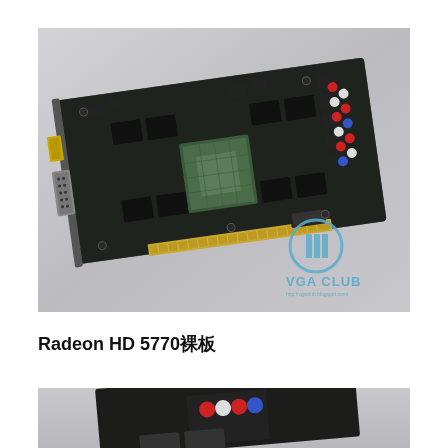[Figure (photo): Top-down photo of an AMD Radeon HD 5770 graphics card PCB (bare board without cooler), showing the green GPU die, memory chips, capacitors, power connectors, and DVI port on the bracket. VGA Club watermark logo visible in bottom-right corner of the image.]
Radeon HD 5770裸板
[Figure (photo): Partial photo of another view of the Radeon HD 5770 graphics card, cropped at the bottom of the page, showing part of the card with connectors visible.]